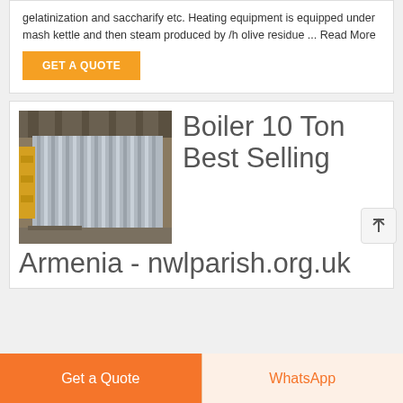gelatinization and saccharify etc. Heating equipment is equipped under mash kettle and then steam produced by /h olive residue ... Read More
GET A QUOTE
[Figure (photo): Photo of a large industrial boiler unit with corrugated metal panels in a factory setting]
Boiler 10 Ton Best Selling Armenia - nwlparish.org.uk
Get a Quote
WhatsApp